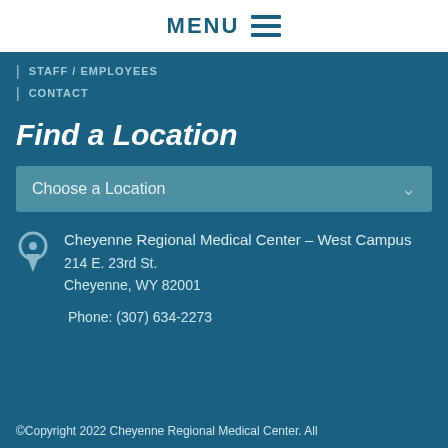MENU
| STAFF / EMPLOYEES
| CONTACT
Find a Location
Choose a Location
Cheyenne Regional Medical Center – West Campus
214 E. 23rd St.
Cheyenne, WY 82001
Phone: (307) 634-2273
©Copyright 2022 Cheyenne Regional Medical Center. All